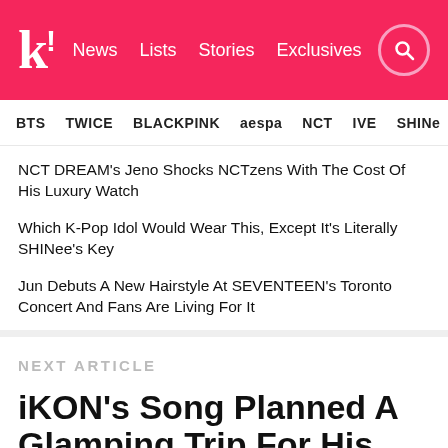k! News  Lists  Stories  Exclusives
BTS  TWICE  BLACKPINK  aespa  NCT  IVE  SHINe
NCT DREAM's Jeno Shocks NCTzens With The Cost Of His Luxury Watch
Which K-Pop Idol Would Wear This, Except It's Literally SHINee's Key
Jun Debuts A New Hairstyle At SEVENTEEN's Toronto Concert And Fans Are Living For It
NEXT ARTICLE
iKON's Song Planned A Glamping Trip For His Grandparents And It Has Us Soft